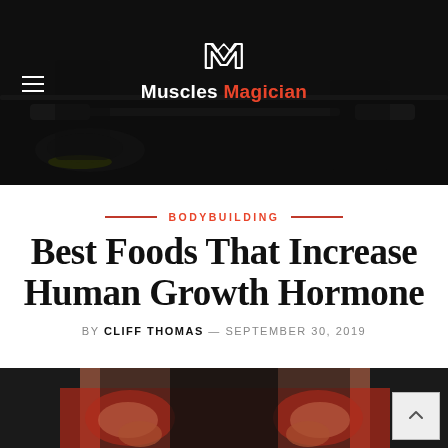[Figure (photo): Dark gym background photo showing a person lifting a barbell, Nike shoes visible, dark moody lighting. Muscles Magician website header with logo and hamburger menu.]
Muscles Magician
BODYBUILDING
Best Foods That Increase Human Growth Hormone
BY CLIFF THOMAS — SEPTEMBER 30, 2019
[Figure (photo): Bottom portion of a muscular person in a red and black outfit, showing flexed arms/fists.]